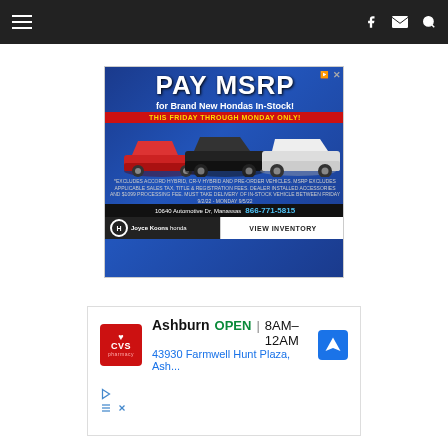[Figure (screenshot): Dark navigation bar with hamburger menu on left and social/search icons on right]
[Figure (infographic): Honda dealership advertisement: PAY MSRP for Brand New Hondas In-Stock! THIS FRIDAY THROUGH MONDAY ONLY! Shows three Honda vehicles. Address: 10640 Automotive Dr, Manassas. Phone: 866-771-5815. Joyce Koons Honda. VIEW INVENTORY. Disclaimer text about exclusions.]
[Figure (infographic): CVS Pharmacy advertisement showing: Ashburn OPEN 8AM-12AM, 43930 Farmwell Hunt Plaza, Ash..., with CVS logo and navigation arrow icon]